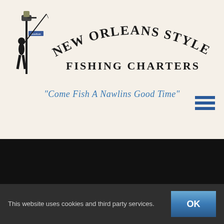[Figure (logo): New Orleans Style Fishing Charters logo with a silhouette of a person fishing next to a street lamp labeled 'Bourbon', with arched text 'NEW ORLEANS STYLE' above and 'FISHING CHARTERS' below, and tagline 'Come Fish A Nawlins Good Time' in blue italic text.]
Mr Mike and Mr Tony Fishing In New Orleans – New
This website uses cookies and third party services.